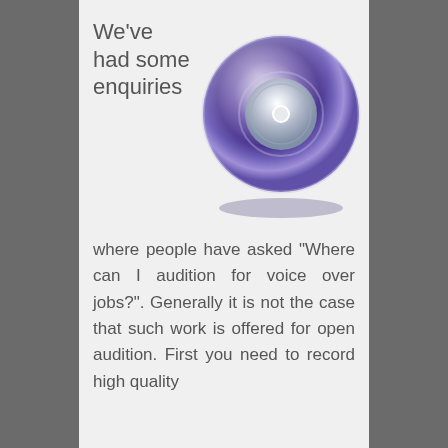We've had some enquiries
[Figure (illustration): A purple/blue metallic CD/DVD disc with a silver center hub and reflective surface, shown at a slight angle with a shadow beneath it.]
where people have asked "Where can I audition for voice over jobs?". Generally it is not the case that such work is offered for open audition. First you need to record high quality